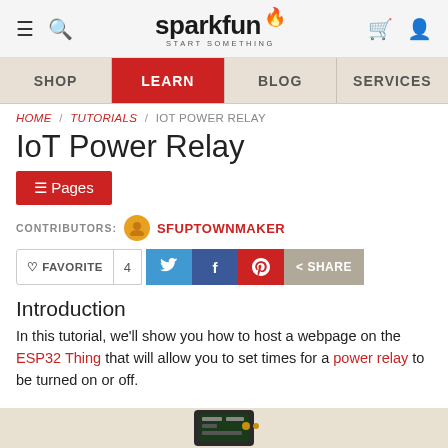SparkFun — hamburger, search, logo, cart, user icons
SHOP | LEARN | BLOG | SERVICES
HOME / TUTORIALS / IOT POWER RELAY
IoT Power Relay
☰ Pages
CONTRIBUTORS: SFUPTOWNMAKER
♡ FAVORITE  4  [twitter] [facebook] [pinterest] < SHARE
Introduction
In this tutorial, we'll show you how to host a webpage on the ESP32 Thing that will allow you to set times for a power relay to be turned on or off.